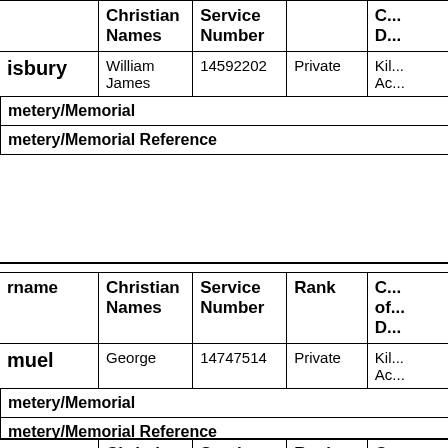| Surname | Christian Names | Service Number | Rank | Cause of Death |
| --- | --- | --- | --- | --- |
| ...isbury | William James | 14592202 | Private | Kil... Ac... |
Cemetery/Memorial
Cemetery/Memorial Reference
| Surname | Christian Names | Service Number | Rank | Cause of Death |
| --- | --- | --- | --- | --- |
| ...muel | George | 14747514 | Private | Kil... Ac... |
Cemetery/Memorial
Cemetery/Memorial Reference
| Surname | Christian Names | Service Number | Rank | Cause of Death |
| --- | --- | --- | --- | --- |